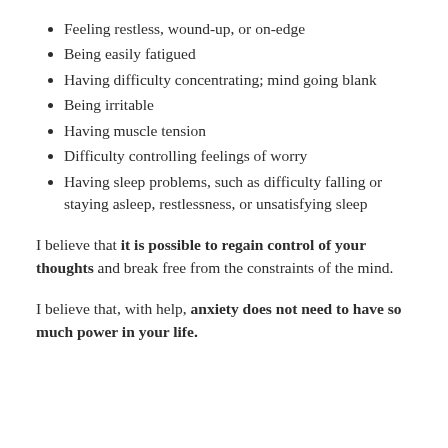Feeling restless, wound-up, or on-edge
Being easily fatigued
Having difficulty concentrating; mind going blank
Being irritable
Having muscle tension
Difficulty controlling feelings of worry
Having sleep problems, such as difficulty falling or staying asleep, restlessness, or unsatisfying sleep
I believe that it is possible to regain control of your thoughts and break free from the constraints of the mind.
I believe that, with help, anxiety does not need to have so much power in your life.